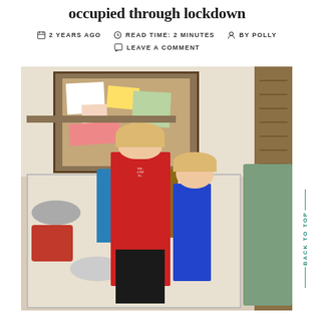occupied through lockdown
2 YEARS AGO   READ TIME: 2 MINUTES   BY POLLY
LEAVE A COMMENT
[Figure (photo): Two children standing at an open kitchen cabinet/dresser filled with various items including bowls, bottles and kitchen scales. Behind them on the wall is a large cork board covered in papers, cards and mementos. One child wears a red gymnastics club shirt and black shorts, the other wears blue pyjamas. Wooden shutters are visible on the right.]